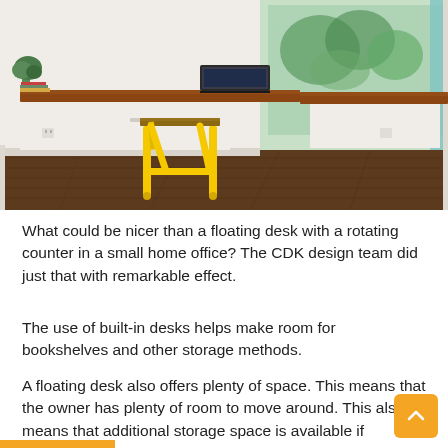[Figure (photo): Interior photo of a small home office with a floating L-shaped wooden desk countertop mounted on white walls, a laptop and plant on the desk, hardwood floors, and a yellow metal side table/stool in the foreground. A window with green foliage is visible in the background.]
What could be nicer than a floating desk with a rotating counter in a small home office? The CDK design team did just that with remarkable effect.
The use of built-in desks helps make room for bookshelves and other storage methods.
A floating desk also offers plenty of space. This means that the owner has plenty of room to move around. This also means that additional storage space is available if required.